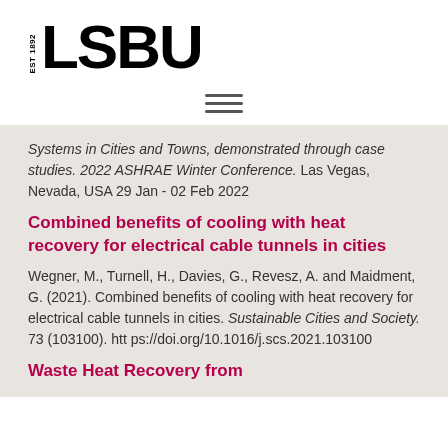[Figure (logo): LSBU logo with EST 1892 text and large bold LSBU letters]
[Figure (other): Hamburger menu icon with three horizontal lines]
Systems in Cities and Towns, demonstrated through case studies. 2022 ASHRAE Winter Conference. Las Vegas, Nevada, USA 29 Jan - 02 Feb 2022
Combined benefits of cooling with heat recovery for electrical cable tunnels in cities
Wegner, M., Turnell, H., Davies, G., Revesz, A. and Maidment, G. (2021). Combined benefits of cooling with heat recovery for electrical cable tunnels in cities. Sustainable Cities and Society. 73 (103100). https://doi.org/10.1016/j.scs.2021.103100
Waste Heat Recovery from